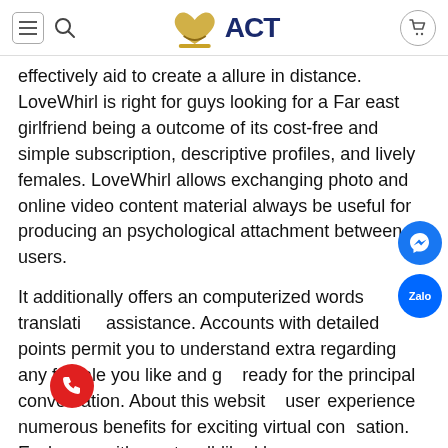ACT (logo with icon)
effectively aid to create a allure in distance. LoveWhirl is right for guys looking for a Far east girlfriend being a outcome of its cost-free and simple subscription, descriptive profiles, and lively females. LoveWhirl allows exchanging photo and online video content material always be useful for producing an psychological attachment between users.
It additionally offers an computerized words translation assistance. Accounts with detailed points permit you to understand extra regarding any female you like and get ready for the principal conversation. About this website, users experience numerous benefits for exciting virtual conversation. Exchange with most well-liked buyer messages, video clips, audio mail messages, and peel off stickers. The latest love stories discuss create a unique...